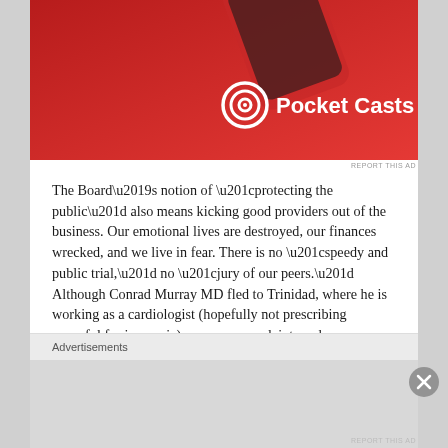[Figure (screenshot): Pocket Casts advertisement showing a red device on a red background with Pocket Casts logo and text]
REPORT THIS AD
The Board’s notion of “protecting the public” also means kicking good providers out of the business. Our emotional lives are destroyed, our finances wrecked, and we live in fear. There is no “speedy and public trial,” no “jury of our peers.” Although Conrad Murray MD fled to Trinidad, where he is working as a cardiologist (hopefully not prescribing propofol for insomnia), an open complaint renders me ineligible for licensure in all fifty states, all Canadian provinces, the Netherlands, and Australia.
Assuming that the Board dismisses the case, I don’t know if I could ever return to practice. It’s too hard to live in fear of a
Advertisements